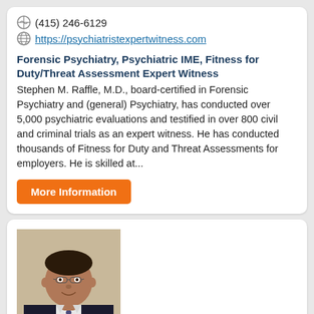(415) 246-6129
https://psychiatristexpertwitness.com
Forensic Psychiatry, Psychiatric IME, Fitness for Duty/Threat Assessment Expert Witness
Stephen M. Raffle, M.D., board-certified in Forensic Psychiatry and (general) Psychiatry, has conducted over 5,000 psychiatric evaluations and testified in over 800 civil and criminal trials as an expert witness. He has conducted thousands of Fitness for Duty and Threat Assessments for employers. He is skilled at...
More Information
[Figure (photo): Headshot photo of Emin Gharibian, a man in a dark suit with a tie, smiling against a light background]
Emin Gharibian, Psy.D.
California - Serving: California - Serving: All States